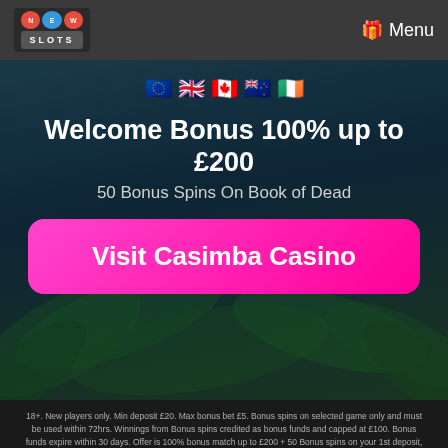NEW SLOTS | Menu
[Figure (infographic): Row of country flag emoji icons: EU, UK, Canada, New Zealand, Ireland]
Welcome Bonus 100% up to £200
50 Bonus Spins On Book of Dead
Visit Casimba Casino
18+. New players only. Min deposit £20. Max bonus bet £5. Bonus spins on selected game only and must be used within 72hrs. Winnings from Bonus spins credited as bonus funds and capped at £100. Bonus funds expire within 30 days. Offer is 100% bonus match up to £200 + 50 Bonus spins on your 1st deposit, and 50% bonus match up to £50 on your 2nd deposit. Bonus funds are separate to cash funds & subject to wagering requirement (35x deposit + bonus). Only bonus funds contribute towards wagering requirement. Affordability checks apply. Terms apply. Please gamble responsibly. 18+ T&Cs | BeGambleAware #AD